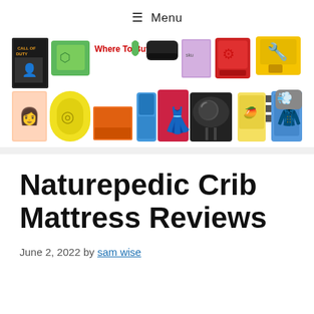≡ Menu
[Figure (illustration): Banner image showing a collage of various consumer products including a video game case, lawn items, camera, tablet, shoes, book, kitchen mixer, drill, car polisher, razor, woman in red dress, BBQ grill, food pouch, children's jacket, and more. The text 'Where To Buy' appears in red within the collage.]
Naturepedic Crib Mattress Reviews
June 2, 2022 by sam wise